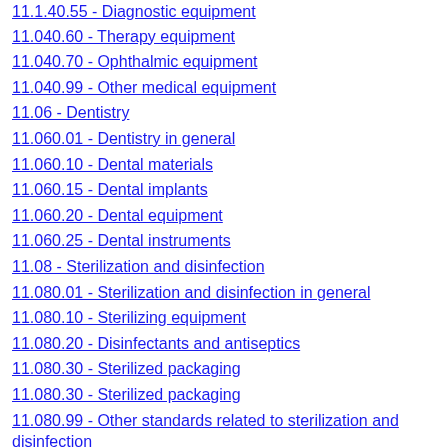11.040.60 - Therapy equipment
11.040.70 - Ophthalmic equipment
11.040.99 - Other medical equipment
11.06 - Dentistry
11.060.01 - Dentistry in general
11.060.10 - Dental materials
11.060.15 - Dental implants
11.060.20 - Dental equipment
11.060.25 - Dental instruments
11.08 - Sterilization and disinfection
11.080.01 - Sterilization and disinfection in general
11.080.10 - Sterilizing equipment
11.080.20 - Disinfectants and antiseptics
11.080.30 - Sterilized packaging
11.080.30 - Sterilized packaging
11.080.99 - Other standards related to sterilization and disinfection
11.100.01 - Laboratory medicine in general